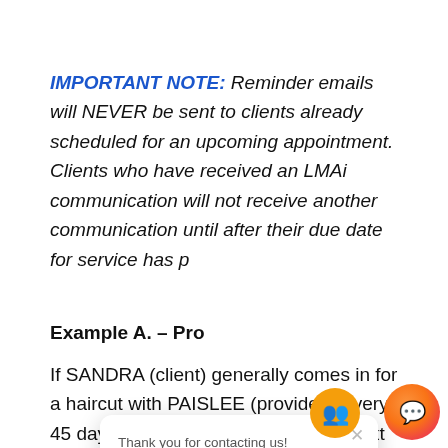IMPORTANT NOTE: Reminder emails will NEVER be sent to clients already scheduled for an upcoming appointment. Clients who have received an LMAi communication will not receive another communication until after their due date for service has p[assed].
Example A. – Pro[vider]
If SANDRA (client) generally comes in for a haircut with PAISLEE (provider)  every 45 days, seven (7) days before her next